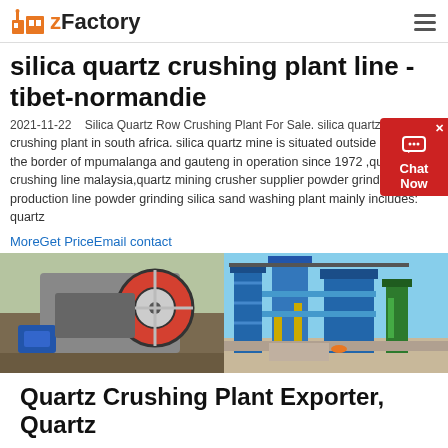zFactory
silica quartz crushing plant line - tibet-normandie
2021-11-22    Silica Quartz Row Crushing Plant For Sale. silica quartz mine crushing plant in south africa. silica quartz mine is situated outside delmas on the border of mpumalanga and gauteng in operation since 1972 ,quartz sand crushing line malaysia,quartz mining crusher supplier powder grinding production line powder grinding silica sand washing plant mainly includes: quartz
MoreGet PriceEmail contact
[Figure (photo): Two photos side by side: left shows a jaw crusher machine with blue motor outdoors; right shows a large industrial plant structure with blue and yellow steel framework against a blue sky.]
Quartz Crushing Plant Exporter, Quartz Stone Crushing